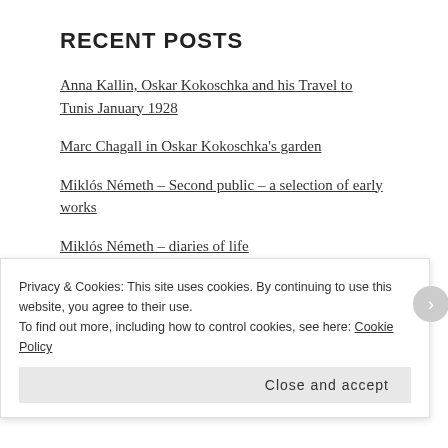RECENT POSTS
Anna Kallin, Oskar Kokoschka and his Travel to Tunis January 1928
Marc Chagall in Oskar Kokoschka’s garden
Miklós Németh – Second public – a selection of early works
Miklós Németh – diaries of life
Kunst-Kauderwelsch…
ARCHIVES
Privacy & Cookies: This site uses cookies. By continuing to use this website, you agree to their use.
To find out more, including how to control cookies, see here: Cookie Policy
Close and accept